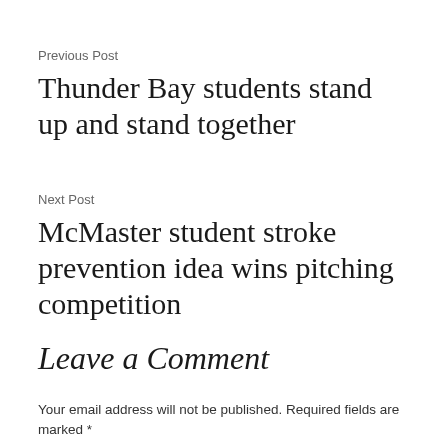Previous Post
Thunder Bay students stand up and stand together
Next Post
McMaster student stroke prevention idea wins pitching competition
Leave a Comment
Your email address will not be published. Required fields are marked *